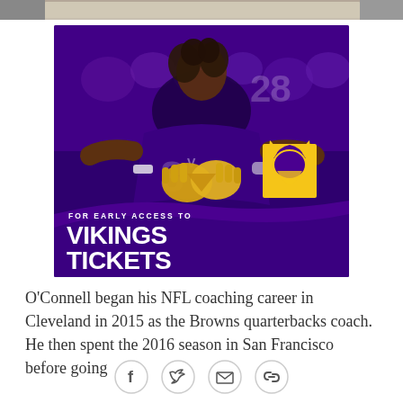[Figure (photo): Top edge of a photo showing partial image, gray/beige tones]
[Figure (photo): Minnesota Vikings advertisement showing a player in purple jersey making a hand gesture, with text 'FOR EARLY ACCESS TO VIKINGS TICKETS' and Vikings logo on gold background]
O'Connell began his NFL coaching career in Cleveland in 2015 as the Browns quarterbacks coach. He then spent the 2016 season in San Francisco before going
[Figure (infographic): Social sharing buttons: Facebook, Twitter, Email, Link/chain icon]